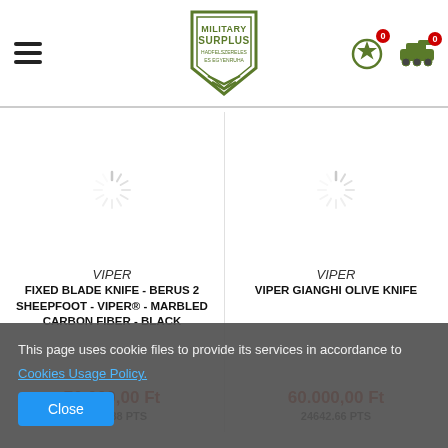[Figure (logo): Military Surplus logo with shield/chevron design]
VIPER
FIXED BLADE KNIFE - BERUS 2 SHEEPFOOT - VIPER® - MARBLED CARBON FIBER - BLACK
70.000,00 Ft
27750.88 PTS
VIPER
VIPER GIANGHI OLIVE KNIFE
60.000,00 Ft
24642.66 PTS
This page uses cookie files to provide its services in accordance to Cookies Usage Policy.
Close